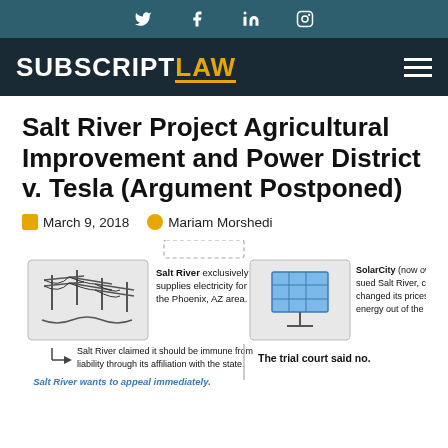Social media icons: Twitter, Facebook, LinkedIn, Instagram
SUBSCRIPT LAW — navigation logo and hamburger menu
Salt River Project Agricultural Improvement and Power District v. Tesla (Argument Postponed)
March 9, 2018   Mariam Morshedi
[Figure (infographic): Infographic showing Salt River exclusively supplies electricity for the Phoenix, AZ area (illustrated with power lines), SolarCity (now owned by Tesla) sued Salt River claiming Salt River changed its prices to keep solar energy out of the market (illustrated with solar panel). Below: Salt River claimed it should be immune from liability through its affiliation with the state. A vertical divider and: The trial court said no. Below: Salt River wants to appeal immediately.]